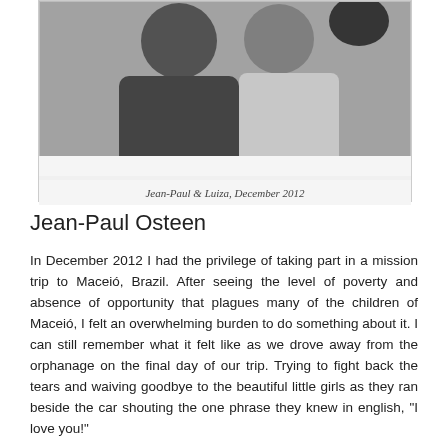[Figure (photo): Black and white photograph of Jean-Paul and Luiza, December 2012. Two people posing together, one in a t-shirt and one in a white top.]
Jean-Paul & Luiza, December 2012
Jean-Paul Osteen
In December 2012 I had the privilege of taking part in a mission trip to Maceió, Brazil. After seeing the level of poverty and absence of opportunity that plagues many of the children of Maceió, I felt an overwhelming burden to do something about it. I can still remember what it felt like as we drove away from the orphanage on the final day of our trip. Trying to fight back the tears and waiving goodbye to the beautiful little girls as they ran beside the car shouting the one phrase they knew in english, "I love you!"